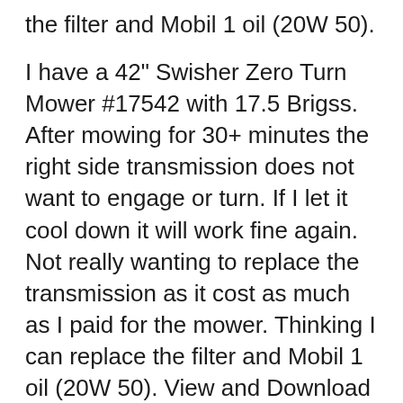the filter and Mobil 1 oil (20W 50).
I have a 42" Swisher Zero Turn Mower #17542 with 17.5 Brigss. After mowing for 30+ minutes the right side transmission does not want to engage or turn. If I let it cool down it will work fine again. Not really wanting to replace the transmission as it cost as much as I paid for the mower. Thinking I can replace the filter and Mobil 1 oil (20W 50). View and Download Swisher ZT17542B, ZT1436, ZT1842, ZT20050 owner's manual online. вЂњZвЂќ SERIES ZERO TURN HYDROSTATIC DRIVE. ZT17542B, ZT1436, вЂ¦
15/7/2012В В· I need a wiring diagram